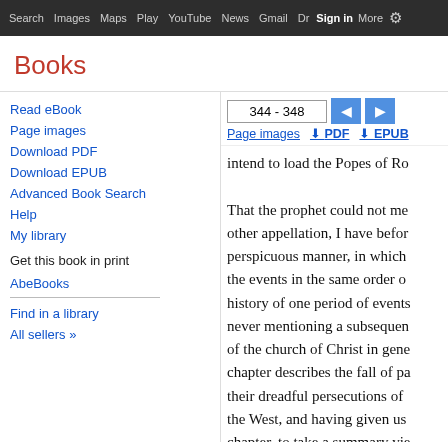Search  Images  Maps  Play  YouTube  News  Gmail  Drive  More  Sign in  Settings
Books
344 - 348
Page images
PDF
EPUB
Read eBook
Page images
Download PDF
Download EPUB
Advanced Book Search
Help
My library
Get this book in print
AbeBooks
Find in a library
All sellers »
intend to load the Popes of Ro…

That the prophet could not me… other appellation, I have befor… perspicuous manner, in which … the events in the same order o… history of one period of events… never mentioning a subsequen… of the church of Christ in gene… chapter describes the fall of pa… their dreadful persecutions of … the West, and having given us … chapter, to take a summary vie… he foretells the rise and exploit… atheistical power of France. H… her enemies. But the subsequ…